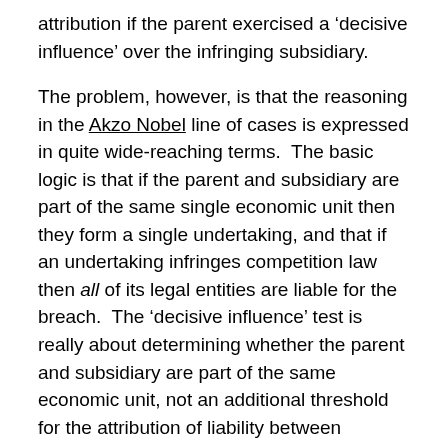attribution if the parent exercised a 'decisive influence' over the infringing subsidiary.
The problem, however, is that the reasoning in the Akzo Nobel line of cases is expressed in quite wide-reaching terms.  The basic logic is that if the parent and subsidiary are part of the same single economic unit then they form a single undertaking, and that if an undertaking infringes competition law then all of its legal entities are liable for the breach.  The 'decisive influence' test is really about determining whether the parent and subsidiary are part of the same economic unit, not an additional threshold for the attribution of liability between companies which are in the same economic unit.
Thus the alternative view is that the liability can be attributed between any and all companies in the same